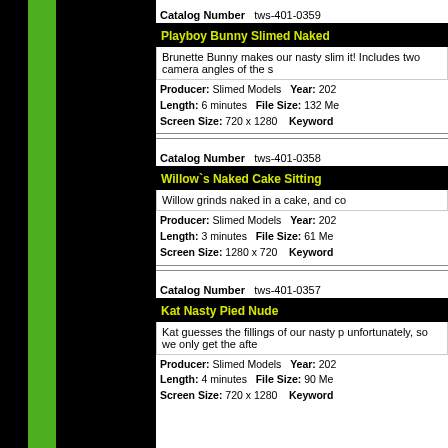Catalog Number   tws-401-0359
Playboy Bunny Slimed Naked
Brunette Bunny makes our nasty slim it! Includes two camera angles of the s
Producer: Slimed Models   Year: 202  Length: 6 minutes   File Size: 132 Me  Screen Size: 720 x 1280   Keyword
Click for Pics
Catalog Number   tws-401-0358
Willow`s Naked Cake Sitting
Willow grinds naked in a cake, and co
Producer: Slimed Models   Year: 202  Length: 3 minutes   File Size: 61 Me  Screen Size: 1280 x 720   Keyword
Click for Pics
Catalog Number   tws-401-0357
Kat Nasty Pied Nude
Kat guesses the fillings of our nasty p unfortunately, so we only get the afte
Producer: Slimed Models   Year: 202  Length: 4 minutes   File Size: 90 Me  Screen Size: 720 x 1280   Keyword
Click for Pics